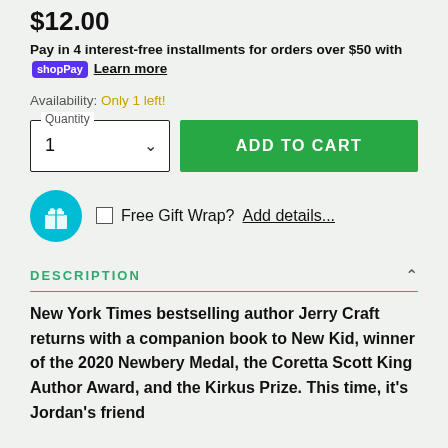$12.00
Pay in 4 interest-free installments for orders over $50 with shopPay Learn more
Availability: Only 1 left!
Quantity 1 ADD TO CART
Free Gift Wrap? Add details...
DESCRIPTION
New York Times bestselling author Jerry Craft returns with a companion book to New Kid, winner of the 2020 Newbery Medal, the Coretta Scott King Author Award, and the Kirkus Prize. This time, it's Jordan's friend